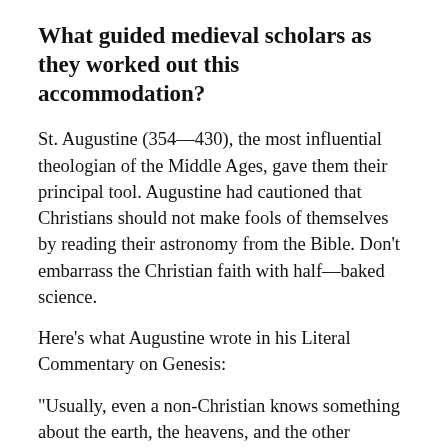What guided medieval scholars as they worked out this accommodation?
St. Augustine (354—430), the most influential theologian of the Middle Ages, gave them their principal tool. Augustine had cautioned that Christians should not make fools of themselves by reading their astronomy from the Bible. Don't embarrass the Christian faith with half—baked science.
Here's what Augustine wrote in his Literal Commentary on Genesis:
"Usually, even a non-Christian knows something about the earth, the heavens, and the other elements of this world, about the